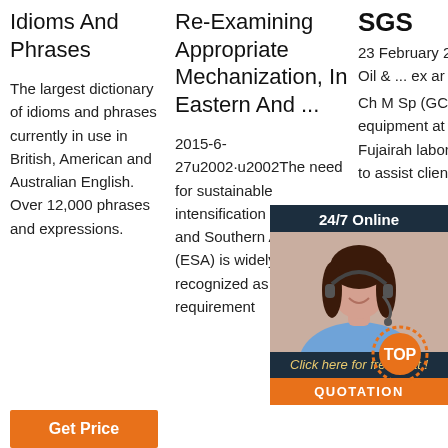Idioms And Phrases
The largest dictionary of idioms and phrases currently in use in British, American and Australian English. Over 12,000 phrases and expressions.
Re-Examining Appropriate Mechanization, In Eastern And ...
2015-6-27u2002·u2002The need for sustainable intensification in Eastern and Southern Africa (ESA) is widely recognized as a requirement
SGS
23 February 2021. Oil & ... ex ar it b Ch M Sp (GCMS) equipment at its Fujairah laboratory to assist clients
[Figure (photo): Customer service representative woman with headset smiling, part of a 24/7 online chat widget overlay with dark background, 'Click here for free chat!' text, and orange QUOTATION button]
Get Price